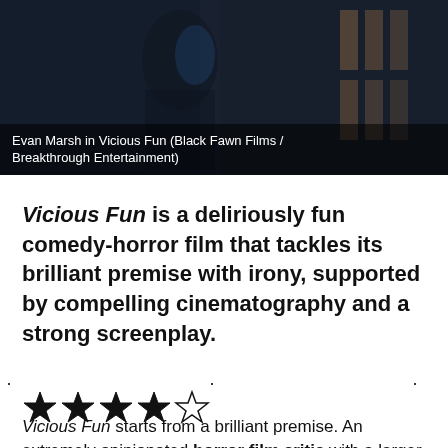[Figure (photo): Movie still from Vicious Fun showing Evan Marsh, dark toned scene with blue lighting]
Evan Marsh in Vicious Fun (Black Fawn Films / Breakthrough Entertainment)
Vicious Fun is a deliriously fun comedy-horror film that tackles its brilliant premise with irony, supported by compelling cinematography and a strong screenplay.
· · ·
[Figure (other): 4 out of 5 stars rating]
Vicious Fun starts from a brilliant premise. An extremely opinionated horror film critic with a larger than life personality and the habit of saying...